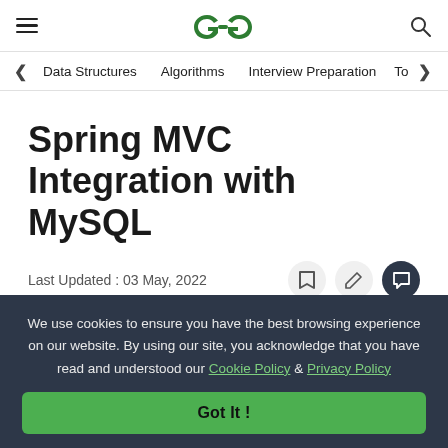GeeksforGeeks – Navigation header with hamburger menu, logo, and search icon
< Data Structures   Algorithms   Interview Preparation   To>
Spring MVC Integration with MySQL
Last Updated : 03 May, 2022
We use cookies to ensure you have the best browsing experience on our website. By using our site, you acknowledge that you have read and understood our Cookie Policy & Privacy Policy
Got It !